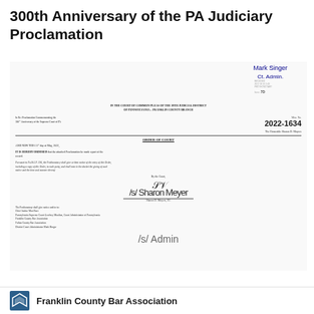300th Anniversary of the PA Judiciary Proclamation
[Figure (other): Scanned court document: Order of Court from the Court of Common Pleas of the 39th Judicial District of Pennsylvania – Franklin County Branch. Misc. No. 2022-1634. The Honorable Sharon D. Moyers. AND NOW THIS 11th day of May, 2022, IT IS HEREBY ORDERED that the attached Proclamation be made a part of the record. Pursuant to Pa.R.C.P. 236, the Prothonotary shall give written notice of the entry of this Order, including a copy of this Order, to each party, and shall note in the docket the giving of such notice and the time and manner thereof. By the Court. Sharon D. Moyers, P.J. The Prothonotary shall give notice and/or to: Chief Justice Max Baer, Pennsylvania Supreme Court Geoffrey Moulton, Court Administrator of Pennsylvania, Franklin County Bar Association, Fulton County Bar Association, District Court Administrator Mark Binger. With a handwritten signature Mark Singer Ct. Admin. at top right and a stamp, and a second signature at the bottom.]
Franklin County Bar Association